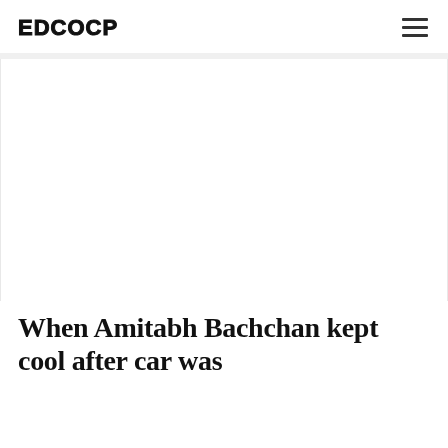EDCOCP
[Figure (photo): Large white/blank image placeholder area below the site header]
When Amitabh Bachchan kept cool after car was